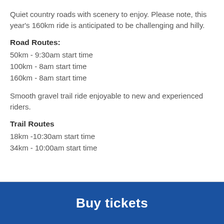Quiet country roads with scenery to enjoy. Please note, this year's 160km ride is anticipated to be challenging and hilly.
Road Routes:
50km - 9:30am start time
100km - 8am start time
160km - 8am start time
Smooth gravel trail ride enjoyable to new and experienced riders.
Trail Routes
18km -10:30am start time
34km - 10:00am start time
Buy tickets